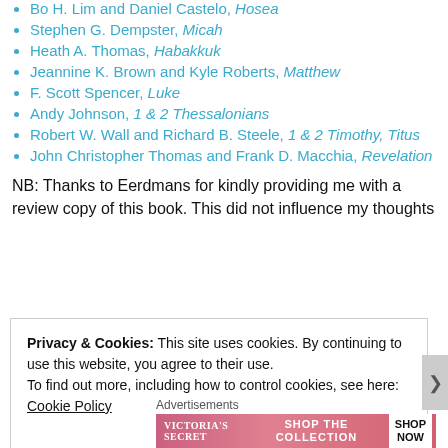Bo H. Lim and Daniel Castelo, Hosea
Stephen G. Dempster, Micah
Heath A. Thomas, Habakkuk
Jeannine K. Brown and Kyle Roberts, Matthew
F. Scott Spencer, Luke
Andy Johnson, 1 & 2 Thessalonians
Robert W. Wall and Richard B. Steele, 1 & 2 Timothy, Titus
John Christopher Thomas and Frank D. Macchia, Revelation
NB: Thanks to Eerdmans for kindly providing me with a review copy of this book. This did not influence my thoughts
Privacy & Cookies: This site uses cookies. By continuing to use this website, you agree to their use. To find out more, including how to control cookies, see here: Cookie Policy
Close and accept
Advertisements